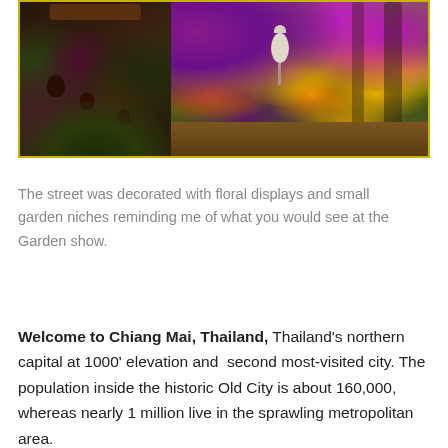[Figure (photo): Two side-by-side photos: left shows dark purple/red tropical plants with clay animal figurines and a wooden sign; right shows a vibrant street display of purple, yellow, and orange flowers hanging from a wooden structure with a white globe lamp.]
The street was decorated with floral displays and small garden niches reminding me of what you would see at the Garden show.
Welcome to Chiang Mai, Thailand, Thailand's northern capital at 1000' elevation and  second most-visited city. The population inside the historic Old City is about 160,000, whereas nearly 1 million live in the sprawling metropolitan area.